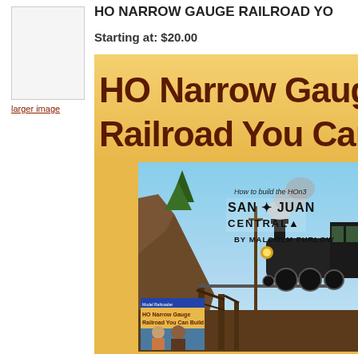[Figure (photo): Small thumbnail placeholder image box for book cover]
larger image
HO NARROW GAUGE RAILROAD YO...
Starting at: $20.00
[Figure (photo): Book cover of 'HO Narrow Gauge Railroad You Can Build' showing a steam locomotive on a trestle bridge, with San Juan Central logo and By Malcolm Furlow credit. Yellow/gold background with large brown title text at top. A smaller inset book cover image appears at bottom left.]